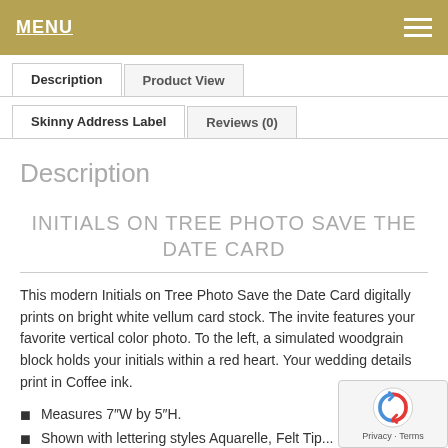MENU
Description  Product View
Skinny Address Label  Reviews (0)
Description
INITIALS ON TREE PHOTO SAVE THE DATE CARD
This modern Initials on Tree Photo Save the Date Card digitally prints on bright white vellum card stock. The invite features your favorite vertical color photo. To the left, a simulated woodgrain block holds your initials within a red heart. Your wedding details print in Coffee ink.
Measures 7″W by 5″H.
Shown with lettering styles Aquarelle, Felt Tip...